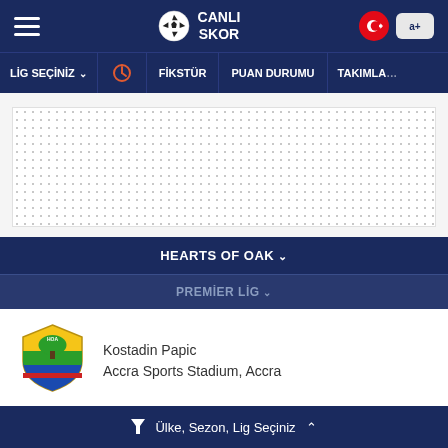CANLI SKOR
LIG SEÇİNİZ | FİKSTÜR | PUAN DURUMU | TAKIMLAR
[Figure (screenshot): Advertisement placeholder area with dotted pattern]
HEARTS OF OAK
PREMİER LİG
[Figure (logo): Hearts of Oak football club shield logo with yellow and green colors]
Kostadin Papic
Accra Sports Stadium, Accra
PERFORMANS
Ülke, Sezon, Lig Seçiniz